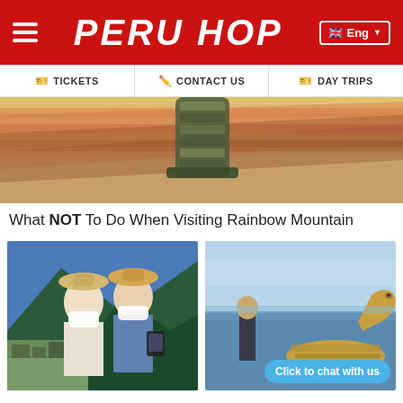PERU HOP
TICKETS | CONTACT US | DAY TRIPS
[Figure (photo): Rainbow Mountain Peru with colorful striped rock and a knitted object in foreground]
What NOT To Do When Visiting Rainbow Mountain
[Figure (photo): Two tourists wearing masks taking a selfie at Machu Picchu]
[Figure (photo): Person standing next to a reed boat sculpture of a llama/animal by Lake Titicaca]